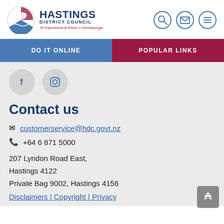[Figure (logo): Hastings District Council logo with circular emblem, text 'HASTINGS DISTRICT COUNCIL' and Maori subtitle 'Te Kaunihera ā-Rohe o Heretaunga']
[Figure (infographic): Three circular nav icons: search, envelope, hamburger menu]
DO IT ONLINE
POPULAR LINKS
[Figure (infographic): Social media icons: Facebook (f) and Instagram circles]
Contact us
customerservice@hdc.govt.nz
+64 6 871 5000
207 Lyndon Road East,
Hastings 4122
Private Bag 9002, Hastings 4156
Disclaimers | Copyright | Privacy